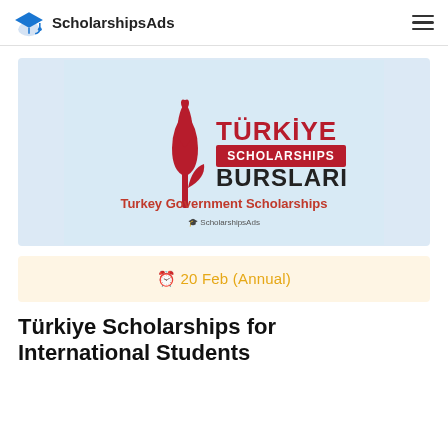ScholarshipsAds
[Figure (logo): Türkiye Scholarships Bursları logo with tulip symbol and text 'Turkey Government Scholarships' and ScholarshipsAds watermark]
20 Feb (Annual)
Türkiye Scholarships for International Students